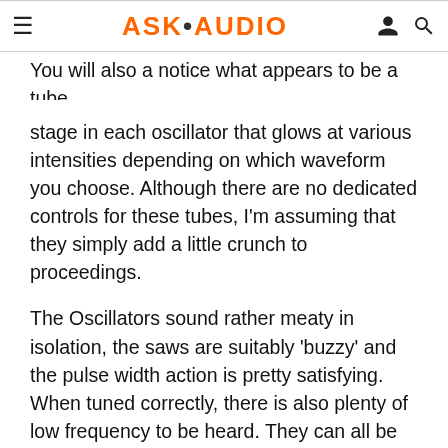ASK·AUDIO
You will also a notice what appears to be a tube stage in each oscillator that glows at various intensities depending on which waveform you choose. Although there are no dedicated controls for these tubes, I'm assuming that they simply add a little crunch to proceedings.
The Oscillators sound rather meaty in isolation, the saws are suitably 'buzzy' and the pulse width action is pretty satisfying. When tuned correctly, there is also plenty of low frequency to be heard. They can all be mixed, treated with a ring modulator and fed through their own tube stage.
Let's take a look at what happens when we feed